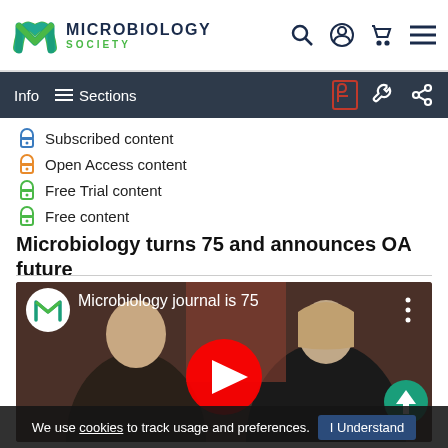MICROBIOLOGY SOCIETY
Info  Sections
Subscribed content
Open Access content
Free Trial content
Free content
Microbiology turns 75 and announces OA future
[Figure (screenshot): YouTube video thumbnail showing two people seated, with title 'Microbiology journal is 75', Microbiology Society logo, YouTube play button, and menu/share icons.]
We use cookies to track usage and preferences. I Understand